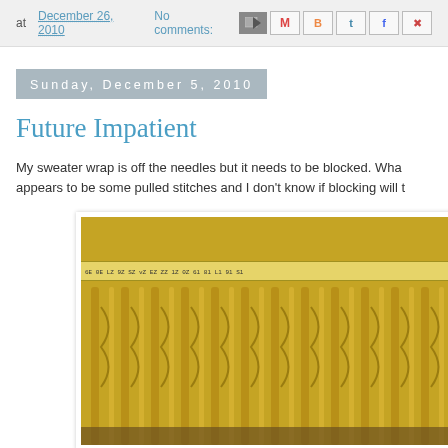at December 26, 2010   No comments:
Sunday, December 5, 2010
Future Impatient
My sweater wrap is off the needles but it needs to be blocked.  Wha appears to be some pulled stitches and I don't know if blocking will t
[Figure (photo): Close-up photo of a yellow/gold cable knit sweater wrap laid flat with a measuring tape running horizontally across the top portion, showing the texture of the knit fabric]